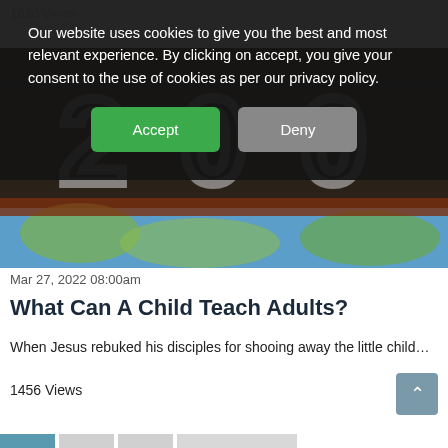1630 Views
[Figure (photo): Overhead/angled view of a wooden beam or sign with large numerals, blue sky and green foliage visible below]
Our website uses cookies to give you the best and most relevant experience. By clicking on accept, you give your consent to the use of cookies as per our privacy policy.
Accept
Deny
Mar 27, 2022 08:00am
What Can A Child Teach Adults?
When Jesus rebuked his disciples for shooing away the little child…
1456 Views